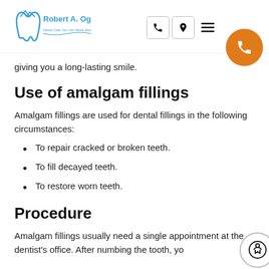[Figure (logo): Robert A. Ogie DDS dental practice logo with tooth and mountain graphic, blue text]
giving you a long-lasting smile.
Use of amalgam fillings
Amalgam fillings are used for dental fillings in the following circumstances:
To repair cracked or broken teeth.
To fill decayed teeth.
To restore worn teeth.
Procedure
Amalgam fillings usually need a single appointment at the dentist's office. After numbing the tooth, yo